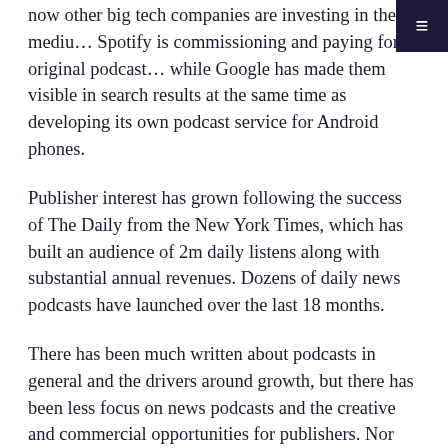now other big tech companies are investing in the medium. Spotify is commissioning and paying for original podcasts, while Google has made them visible in search results at the same time as developing its own podcast service for Android phones.
Publisher interest has grown following the success of The Daily from the New York Times, which has built an audience of 2m daily listens along with substantial annual revenues. Dozens of daily news podcasts have launched over the last 18 months.
There has been much written about podcasts in general and the drivers around growth, but there has been less focus on news podcasts and the creative and commercial opportunities for publishers. Nor has there been much attempt to understand differences between domestic markets, especially outside the English-speaking world. This research sets out to redress that balance by answering